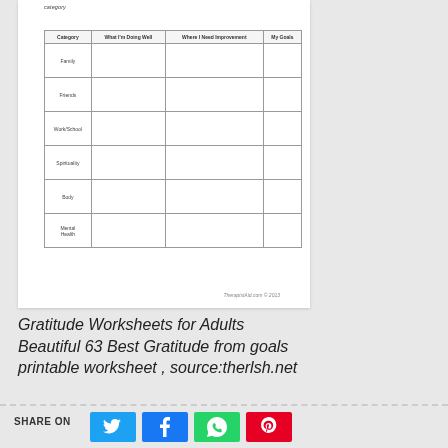category
| Category | What I'm Doing Well | Where I Need Improvement | My Goals |
| --- | --- | --- | --- |
| Family |  |  |  |
| Friends |  |  |  |
| Work/School |  |  |  |
| Spirituality |  |  |  |
| Body |  |  |  |
| Mental Health |  |  |   |
TherapistAid.com © 2013
Gratitude Worksheets for Adults Beautiful 63 Best Gratitude from goals printable worksheet , source:therlsh.net
SHARE ON